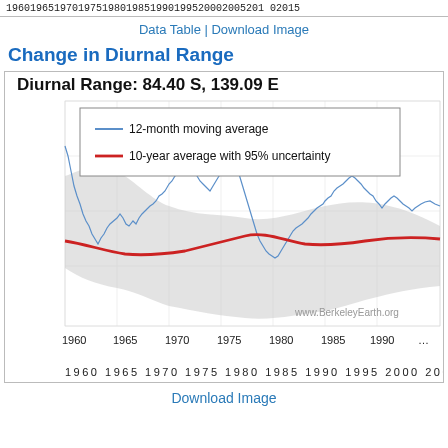196019651970197519801985199019952000200520102015
Data Table | Download Image
Change in Diurnal Range
[Figure (continuous-plot): Line chart showing diurnal temperature range from 1960 to 2015. Contains a blue 12-month moving average line and a red 10-year average line with grey 95% uncertainty band. The blue line shows high variability with peaks around 1980 and 1990. The red smooth line shows the overall trend with grey shading for uncertainty.]
Download Image